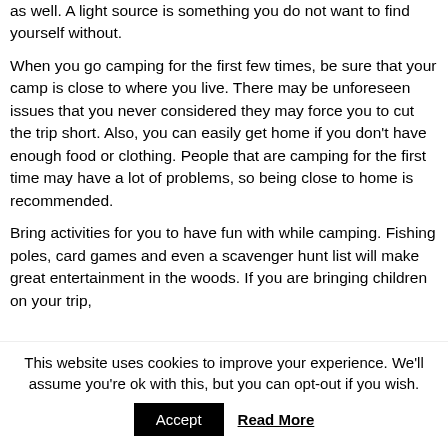as well. A light source is something you do not want to find yourself without.
When you go camping for the first few times, be sure that your camp is close to where you live. There may be unforeseen issues that you never considered they may force you to cut the trip short. Also, you can easily get home if you don't have enough food or clothing. People that are camping for the first time may have a lot of problems, so being close to home is recommended.
Bring activities for you to have fun with while camping. Fishing poles, card games and even a scavenger hunt list will make great entertainment in the woods. If you are bringing children on your trip,
This website uses cookies to improve your experience. We'll assume you're ok with this, but you can opt-out if you wish.
Accept
Read More